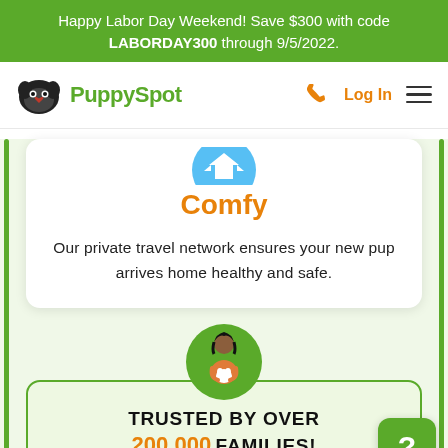Happy Labor Day Weekend! Save $300 with code LABORDAY300 through 9/5/2022.
[Figure (logo): PuppySpot logo with dog face icon and green text]
Log In
[Figure (illustration): Blue airplane/travel icon partially visible at top of Comfy card]
Comfy
Our private travel network ensures your new pup arrives home healthy and safe.
[Figure (illustration): Green circle badge with illustration of person hugging a puppy]
TRUSTED BY OVER 200,000 FAMILIES!